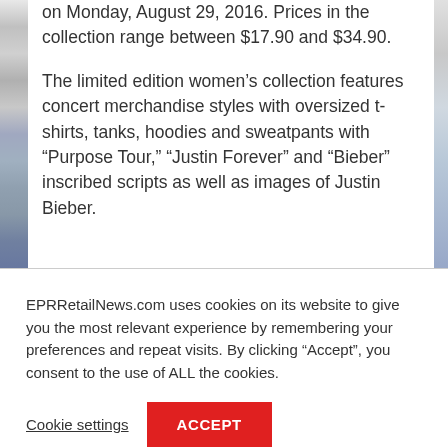on Monday, August 29, 2016. Prices in the collection range between $17.90 and $34.90.
The limited edition women's collection features concert merchandise styles with oversized t-shirts, tanks, hoodies and sweatpants with “Purpose Tour,” “Justin Forever” and “Bieber” inscribed scripts as well as images of Justin Bieber.
EPRRetailNews.com uses cookies on its website to give you the most relevant experience by remembering your preferences and repeat visits. By clicking “Accept”, you consent to the use of ALL the cookies.
Cookie settings
ACCEPT